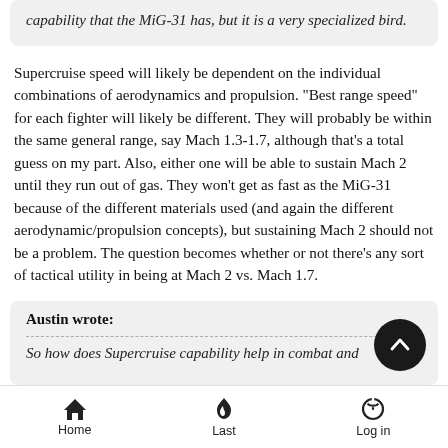capability that the MiG-31 has, but it is a very specialized bird.
Supercruise speed will likely be dependent on the individual combinations of aerodynamics and propulsion. "Best range speed" for each fighter will likely be different. They will probably be within the same general range, say Mach 1.3-1.7, although that's a total guess on my part. Also, either one will be able to sustain Mach 2 until they run out of gas. They won't get as fast as the MiG-31 because of the different materials used (and again the different aerodynamic/propulsion concepts), but sustaining Mach 2 should not be a problem. The question becomes whether or not there's any sort of tactical utility in being at Mach 2 vs. Mach 1.7.
Austin wrote:
So how does Supercruise capability help in combat and
Home  Last  Log in